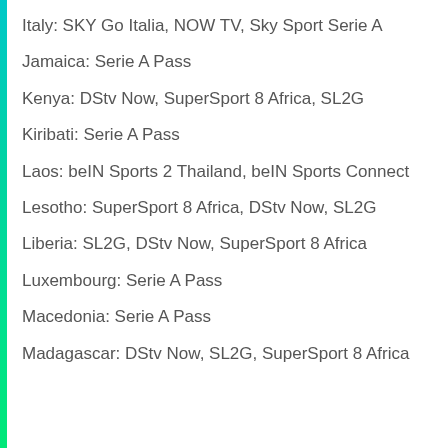Italy: SKY Go Italia, NOW TV, Sky Sport Serie A
Jamaica: Serie A Pass
Kenya: DStv Now, SuperSport 8 Africa, SL2G
Kiribati: Serie A Pass
Laos: beIN Sports 2 Thailand, beIN Sports Connect
Lesotho: SuperSport 8 Africa, DStv Now, SL2G
Liberia: SL2G, DStv Now, SuperSport 8 Africa
Luxembourg: Serie A Pass
Macedonia: Serie A Pass
Madagascar: DStv Now, SL2G, SuperSport 8 Africa